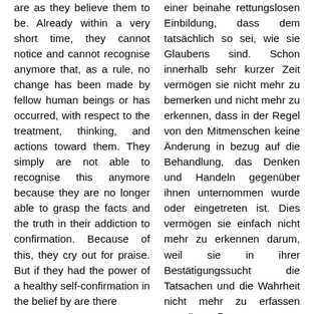are as they believe them to be. Already within a very short time, they cannot notice and cannot recognise anymore that, as a rule, no change has been made by fellow human beings or has occurred, with respect to the treatment, thinking, and actions toward them. They simply are not able to recognise this anymore because they are no longer able to grasp the facts and the truth in their addiction to confirmation. Because of this, they cry out for praise. But if they had the power of a healthy self-confirmation in the belief by are there
einer beinahe rettungslosen Einbildung, dass dem tatsächlich so sei, wie sie Glaubens sind. Schon innerhalb sehr kurzer Zeit vermögen sie nicht mehr zu bemerken und nicht mehr zu erkennen, dass in der Regel von den Mitmenschen keine Änderung in bezug auf die Behandlung, das Denken und Handeln gegenüber ihnen unternommen wurde oder eingetreten ist. Dies vermögen sie einfach nicht mehr zu erkennen darum, weil sie in ihrer Bestätigungssucht die Tatsachen und die Wahrheit nicht mehr zu erfassen vermögen. Darum